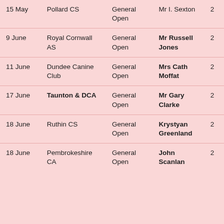| Date | Show | Type | Judge | # |
| --- | --- | --- | --- | --- |
| 15 May | Pollard CS | General Open | Mr I. Sexton | 2 |
| 9 June | Royal Cornwall AS | General Open | Mr Russell Jones | 2 |
| 11 June | Dundee Canine Club | General Open | Mrs Cath Moffat | 2 |
| 17 June | Taunton & DCA | General Open | Mr Gary Clarke | 2 |
| 18 June | Ruthin CS | General Open | Krystyan Greenland | 2 |
| 18 June | Pembrokeshire CA | General Open | John Scanlan | 2 |